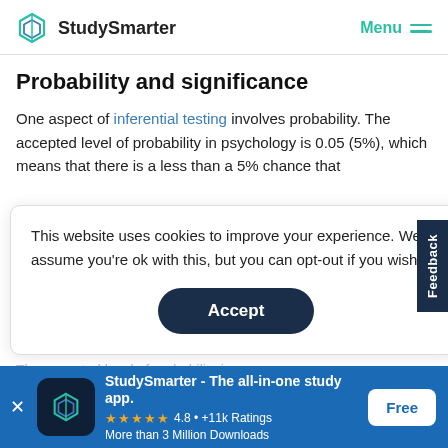StudySmarter | Menu
Probability and significance
One aspect of inferential testing involves probability. The accepted level of probability in psychology is 0.05 (5%), which means that there is a less than a 5% chance that
This website uses cookies to improve your experience. We'll assume you're ok with this, but you can opt-out if you wish.
Accept
The accepted level of probability is...
StudySmarter - The all-in-one study app.
★★★★★ 4.8 • +11k Ratings
More than 3 Million Downloads
Free